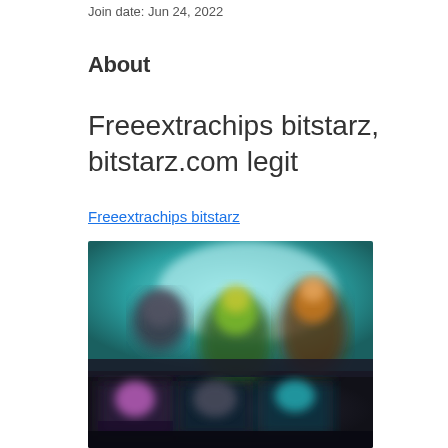Join date: Jun 24, 2022
About
Freeextrachips bitstarz, bitstarz.com legit
Freeextrachips bitstarz
[Figure (screenshot): A blurred screenshot of a gaming or casino website interface showing colorful game thumbnails with character graphics on a teal/dark background]